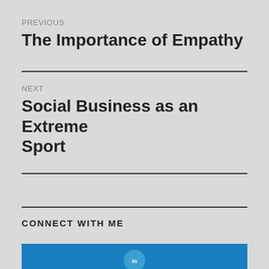PREVIOUS
The Importance of Empathy
NEXT
Social Business as an Extreme Sport
CONNECT WITH ME
[Figure (logo): LinkedIn logo button on blue background]